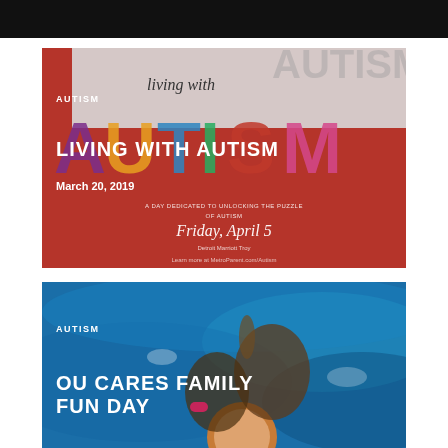[Figure (photo): Black header bar at the top of the page]
[Figure (infographic): Living with Autism event card. Red background with colorful AUTISM letters graphic. Tag: AUTISM. Title: LIVING WITH AUTISM. Date: March 20, 2019. Event text: A DAY DEDICATED TO UNLOCKING THE PUZZLE OF AUTISM, Friday, April 5, Detroit Marriott Troy, Learn more at MetroParent.com/Autism]
[Figure (photo): OU Cares Family Fun Day card. Photo of children swimming in a pool. Tag: AUTISM. Title: OU CARES FAMILY FUN DAY]